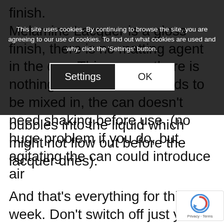finish.
Melamine Lacquer is a gloss finish, there is no matting agent in the can. This means there is nothing in the can that needs to be mixed in, the can doesn't need shaking before use. (no huge problem if you do, but agitating the can could introduce air bubbles into the liquid which might not flow out before the lacquer dries).
[Figure (screenshot): Cookie consent dialog overlay with dark background. Text reads: 'This site uses cookies. By continuing to browse the site, you are agreeing to our use of cookies. To find out what cookies are used and why, click the Settings button.' Two buttons: 'Settings' (dark background, white border) and 'OK' (white background).]
bubbles into the liquid which might not flow out before the lacquer dries).
And that's everything for this week. Don't switch off just yet though, newcomers might like to know that all of the Newsletters are archived on our website and can be accessed by clicking on the button below. And if you scroll down even further there are links to our YouTube channel which if you haven't visited yet is well worth looking at.
Don't forget to tell your friends about the Newsletter,